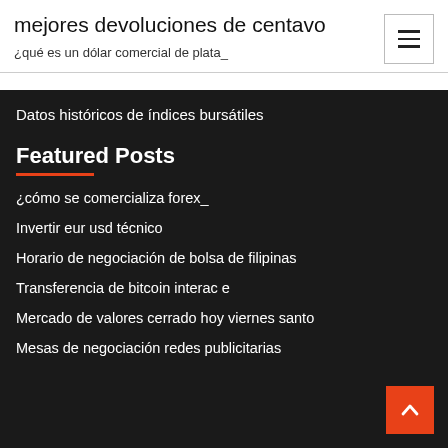mejores devoluciones de centavo
¿qué es un dólar comercial de plata_
Datos históricos de índices bursátiles
Featured Posts
¿cómo se comercializa forex_
Invertir eur usd técnico
Horario de negociación de bolsa de filipinas
Transferencia de bitcoin interac e
Mercado de valores cerrado hoy viernes santo
Mesas de negociación redes publicitarias